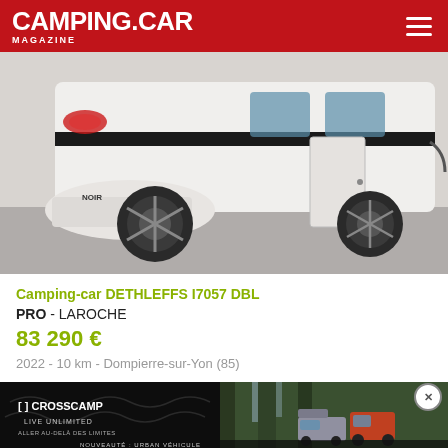CAMPING.CAR MAGAZINE
[Figure (photo): Front side view of a white DETHLEFFS I7057 DBL motorhome/camping-car parked indoors on a grey floor, showing the front bumper, headlights, and side profile with a black stripe decoration.]
Camping-car DETHLEFFS I7057 DBL
PRO - LAROCHE
83 290 €
2022 - 10 km - Dompierre-sur-Yon (85)
[Figure (photo): Advertisement banner for CROSSCAMP (LIVE UNLIMITED / ALLER AU-DELÀ DES LIMITES) showing two campervans in a forest setting. Left half is black with logo text; right half shows vehicles in forest. Bottom text: NOUVEAUTÉ : URBAN VÉHICULE]